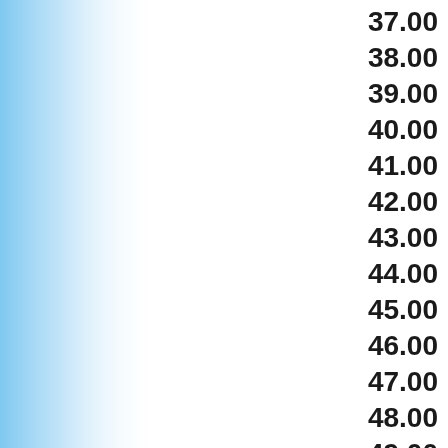[Figure (other): Blue gradient decorative element on the left side of the page]
37.00
38.00
39.00
40.00
41.00
42.00
43.00
44.00
45.00
46.00
47.00
48.00
49.00
50.00